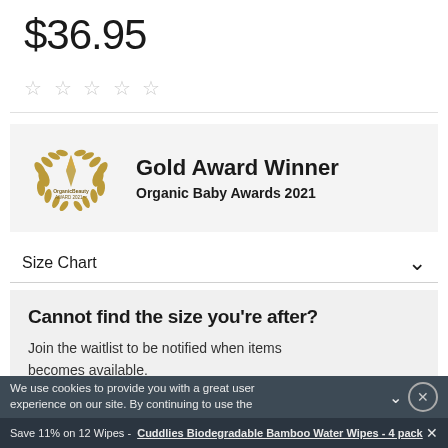$36.95
[Figure (illustration): Five empty star rating icons in light grey]
[Figure (logo): Organic Beauty Award 2021 gold laurel wreath logo with diamond shape in center]
Gold Award Winner
Organic Baby Awards 2021
Size Chart
Cannot find the size you're after?
Join the waitlist to be notified when items becomes available.
We use cookies to provide you with a great user experience on our site. By continuing to use the
Save 11% on 12 Wipes - Cuddlies Biodegradable Bamboo Water Wipes - 4 pack